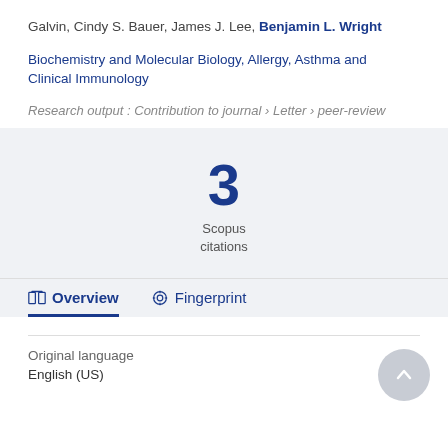Galvin, Cindy S. Bauer, James J. Lee, Benjamin L. Wright
Biochemistry and Molecular Biology, Allergy, Asthma and Clinical Immunology
Research output: Contribution to journal › Letter › peer-review
3
Scopus
citations
Overview
Fingerprint
Original language
English (US)